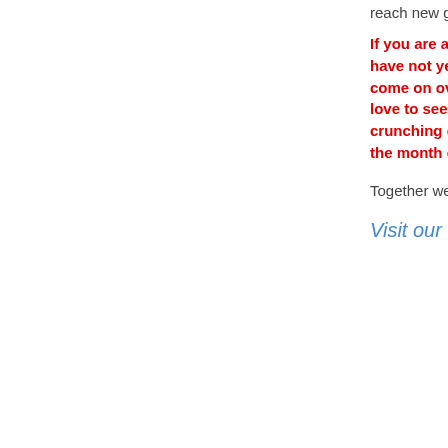reach new goals. Everyone welcome.
If you are already a member of our great team and have not yet visited the message forums, please come on over and introduce yourself. We would love to see you there!! If you have an interest in crunching other projects check out our project of the month or our current push for #1!!
Together we will accomplish something amazing!
Visit our mini city!